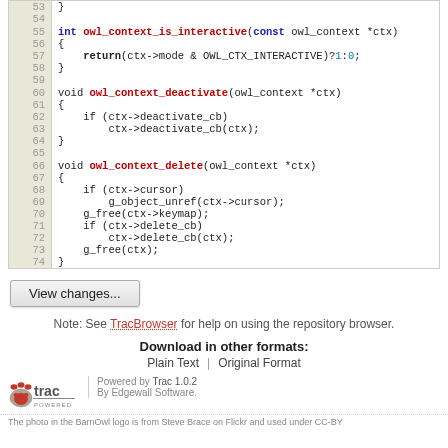[Figure (screenshot): Source code viewer showing C code lines 53-74 with line numbers in a beige gutter. Functions include owl_context_is_interactive, owl_context_deactivate, and owl_context_delete.]
View changes...
Note: See TracBrowser for help on using the repository browser.
Download in other formats:
Plain Text | Original Format
[Figure (logo): Trac powered logo with red paw print]
Powered by Trac 1.0.2
By Edgewall Software.
The photo in the BarnOwl logo is from Steve Brace on Flickr and used under CC-BY